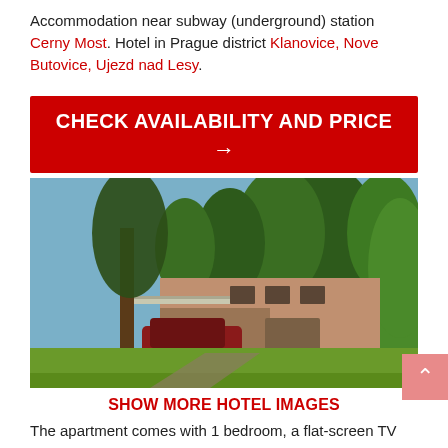Accommodation near subway (underground) station Cerny Most. Hotel in Prague district Klanovice, Nove Butovice, Ujezd nad Lesy.
[Figure (other): Red CTA button with white bold text 'CHECK AVAILABILITY AND PRICE' and a right arrow]
[Figure (photo): Exterior photo of a two-storey residential house/hotel surrounded by large trees and green lawn, with a dark SUV parked in front.]
SHOW MORE HOTEL IMAGES
The apartment comes with 1 bedroom, a flat-screen TV